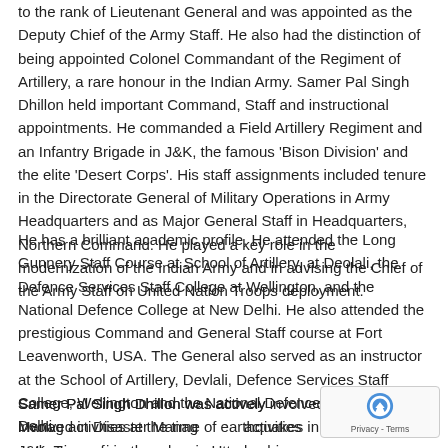to the rank of Lieutenant General and was appointed as the Deputy Chief of the Army Staff. He also had the distinction of being appointed Colonel Commandant of the Regiment of Artillery, a rare honour in the Indian Army. Samer Pal Singh Dhillon held important Command, Staff and instructional appointments. He commanded a Field Artillery Regiment and an Infantry Brigade in J&K, the famous 'Bison Division' and the elite 'Desert Corps'. His staff assignments included tenure in the Directorate General of Military Operations in Army Headquarters and as Major General Staff in Headquarters, Northern Command. He played a key role in the modernization of the Indian Army and in advising the Chief of the Army Staff on United Nation Troops deployment.
He has a brilliant academic profile. He attended the Long Gunnery Staff Course at School of Artillery, at Deolali, the Defence Services Staff College at Wellington, and the National Defence College at New Delhi. He also attended the prestigious Command and General Staff course at Fort Leavenworth, USA. The General also served as an instructor at the School of Artillery, Devlali, Defence Services Staff College, Wellington and the National Defence College, New Delhi.
Samer Pal Singh Dhillon was actively involved in Disaster Management activities at the time of earthquakes in Uttarkashi and J&K, Tsunami in